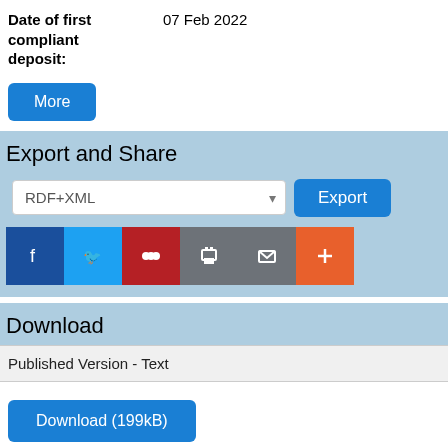Date of first compliant deposit: 07 Feb 2022
More
Export and Share
RDF+XML
Export
[Figure (screenshot): Social sharing buttons: Facebook, Twitter, Mendeley, Print, Email, More]
Download
Published Version - Text
Download (199kB)